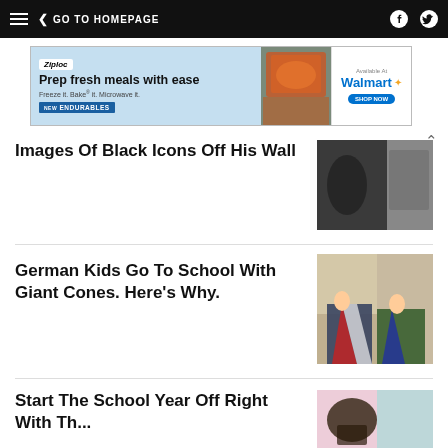GO TO HOMEPAGE
[Figure (other): Ziploc/Walmart advertisement banner: Prep fresh meals with ease. Freeze it. Bake it. Microwave it. NEW ENDURABLES. Available at Walmart.]
Images Of Black Icons Off His Wall
[Figure (photo): Dark interior photo, possibly a car seat or dark background]
German Kids Go To School With Giant Cones. Here's Why.
[Figure (photo): Two children holding large cone-shaped bags, standing outside a building]
Start The School Year Off Right With Th...